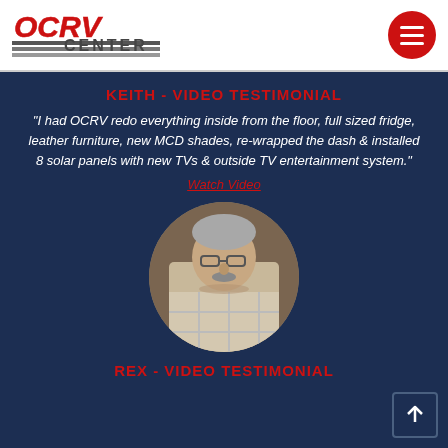[Figure (logo): OCRV Center logo with red lettering and horizontal striped lines, plus red circular hamburger menu button]
KEITH - VIDEO TESTIMONIAL
“I had OCRV redo everything inside from the floor, full sized fridge, leather furniture, new MCD shades, re-wrapped the dash & installed 8 solar panels with new TVs & outside TV entertainment system.”
Watch Video
[Figure (photo): Circular cropped photo of an older man with gray hair, glasses, and a plaid shirt]
REX - VIDEO TESTIMONIAL